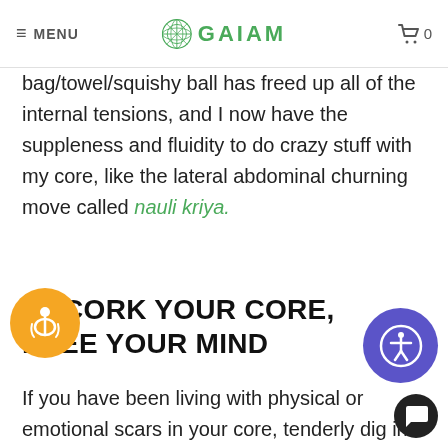MENU | GAIAM | 0
bag/towel/squishy ball has freed up all of the internal tensions, and I now have the suppleness and fluidity to do crazy stuff with my core, like the lateral abdominal churning move called nauli kriya.
UNCORK YOUR CORE, FREE YOUR MIND
If you have been living with physical or emotional scars in your core, tenderly dig into its layers and listen to your body talk. You will be one step further on the road to recovering the vitality of these tissues. My newest DVD, Coregeous, details embodied exercises (including nauli kriya) to help you re-